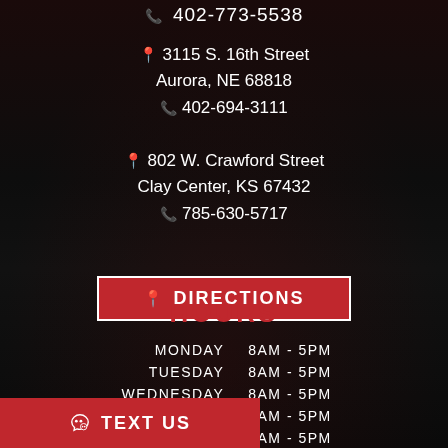📞 402-773-5538
📍 3115 S. 16th Street
Aurora, NE 68818
📞 402-694-3111
📍 802 W. Crawford Street
Clay Center, KS 67432
📞 785-630-5717
📍 DIRECTIONS
HOURS
| Day | Hours |
| --- | --- |
| MONDAY | 8AM - 5PM |
| TUESDAY | 8AM - 5PM |
| WEDNESDAY | 8AM - 5PM |
| THURSDAY | 8AM - 5PM |
| FRIDAY | 8AM - 5PM |
| SATURDAY | CLOSED |
TEXT US